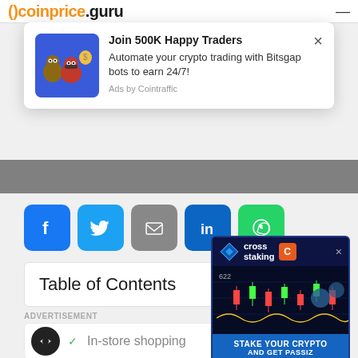coinprice.guru
[Figure (screenshot): Advertisement popup: cartoon animals on blue background with text 'Join 500K Happy Traders - Automate your crypto trading with Bitsgap bots to earn 24/7!' and 'Ads by Cointraffic'. Close X button on right.]
[Figure (screenshot): Social share buttons row: Facebook (blue), Twitter (light blue), Email (grey), LinkedIn (dark blue), WhatsApp (green)]
Table of Contents
ADVERTISEMENT
[Figure (screenshot): Bottom advertisement: circular black logo, checkmark icon, 'In-store shopping' text, blue navigation arrow icon]
[Figure (screenshot): Cross staking advertisement popup: dark background with crypto candlestick chart, 'cross staking' title with C logo icon, orange 'STAKE YOUR CRYPTO AND GET PASSIZ' footer text on blue background]